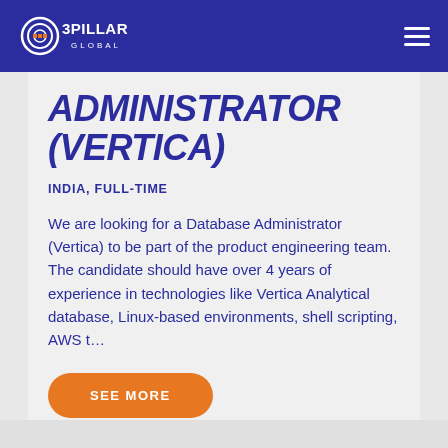3PILLAR GLOBAL
ADMINISTRATOR (VERTICA)
INDIA, FULL-TIME
We are looking for a Database Administrator (Vertica) to be part of the product engineering team. The candidate should have over 4 years of experience in technologies like Vertica Analytical database, Linux-based environments, shell scripting, AWS t…
SEE MORE